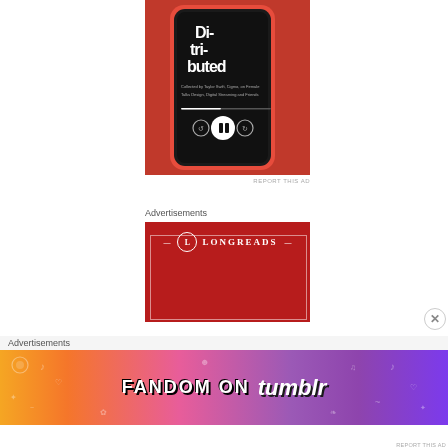[Figure (screenshot): A smartphone with a red case displaying a podcast/audio app on a red background, showing 'Distributed' text on screen with playback controls.]
REPORT THIS AD
Advertisements
[Figure (logo): Longreads advertisement on a dark red background with the Longreads logo (circle with L) and name in white text with decorative border.]
Advertisements
[Figure (infographic): Fandom on Tumblr advertisement banner with colorful gradient background (orange to purple) featuring doodle icons and the text 'FANDOM ON tumblr'.]